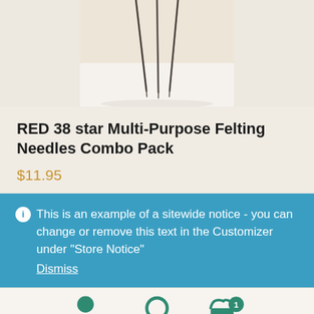[Figure (photo): Close-up photo of felting needles with pointed tips against a light beige/white background]
RED 38 star Multi-Purpose Felting Needles Combo Pack
$11.95
ℹ This is an example of a sitewide notice - you can change or remove this text in the Customizer under "Store Notice"
Dismiss
[Figure (infographic): Bottom navigation bar with account icon, search icon, and cart icon with badge showing 1 item]